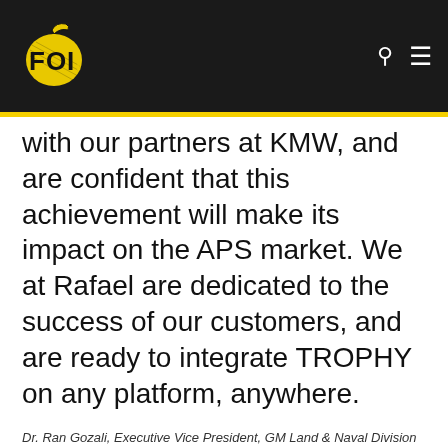[Figure (logo): FOI logo — yellow stylized grenade/letters on black background navigation bar]
with our partners at KMW, and are confident that this achievement will make its impact on the APS market. We at Rafael are dedicated to the success of our customers, and are ready to integrate TROPHY on any platform, anywhere.
Dr. Ran Gozali, Executive Vice President, GM Land & Naval Division at Rafael Advanced Defense Systems